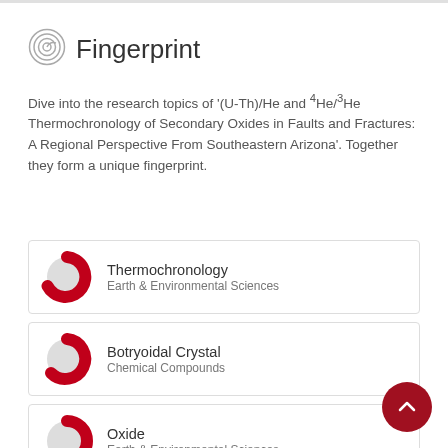Fingerprint
Dive into the research topics of '(U-Th)/He and ⁴He/³He Thermochronology of Secondary Oxides in Faults and Fractures: A Regional Perspective From Southeastern Arizona'. Together they form a unique fingerprint.
Thermochronology
Earth & Environmental Sciences
Botryoidal Crystal
Chemical Compounds
Oxide
Earth & Environmental Sciences
Oxides